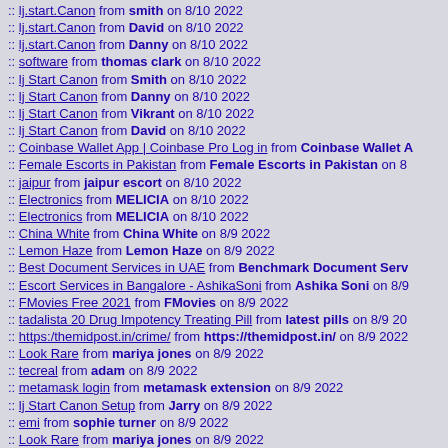:: lj.start.Canon from smith on 8/10 2022
:: lj.start.Canon from David on 8/10 2022
:: lj.start.Canon from Danny on 8/10 2022
:: software from thomas clark on 8/10 2022
:: lj Start Canon from Smith on 8/10 2022
:: lj Start Canon from Danny on 8/10 2022
:: lj Start Canon from Vikrant on 8/10 2022
:: lj Start Canon from David on 8/10 2022
:: Coinbase Wallet App | Coinbase Pro Log in from Coinbase Wallet ...
:: Female Escorts in Pakistan from Female Escorts in Pakistan on 8...
:: jaipur from jaipur escort on 8/10 2022
:: Electronics from MELICIA on 8/10 2022
:: Electronics from MELICIA on 8/10 2022
:: China White from China White on 8/9 2022
:: Lemon Haze from Lemon Haze on 8/9 2022
:: Best Document Services in UAE from Benchmark Document Serv...
:: Escort Services in Bangalore - AshikaSoni from Ashika Soni on 8/9...
:: FMovies Free 2021 from FMovies on 8/9 2022
:: tadalista 20 Drug Impotency Treating Pill from latest pills on 8/9 20...
:: https:/themidpost.in/crime/ from https://themidpost.in/ on 8/9 2022...
:: Look Rare from mariya jones on 8/9 2022
:: tecreal from adam on 8/9 2022
:: metamask login from metamask extension on 8/9 2022
:: lj Start Canon Setup from Jarry on 8/9 2022
:: emi from sophie turner on 8/9 2022
:: Look Rare from mariya jones on 8/9 2022
:: Betgratis Freebet Gratis Freechip Gratis from Betgratis Freebet G...
:: Betgratis Freebet Gratis Freechip Gratis from Betgratis Freebet G...
:: Betgratis Freebet Gratis Freechip Gratis from Betgratis Freebet G...
:: Betgratis Freebet Gratis Freechip Gratis from Betgratis Freebet G...